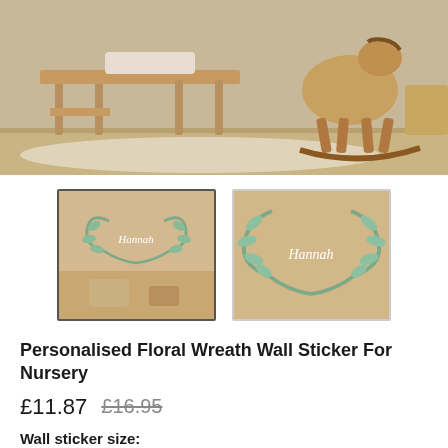[Figure (photo): Nursery room scene with a wooden bench/desk and a wooden rocking horse, neutral beige/taupe tones, seen from slightly below]
[Figure (photo): Two product thumbnail images: left shows floral wreath wall sticker in a nursery room context, right shows a close-up of the green wreath sticker with the name Hannah in script]
Personalised Floral Wreath Wall Sticker For Nursery
£11.87  £16.95 (crossed out)
Wall sticker size:
Small W22cm x H22cm
personalised name (required)